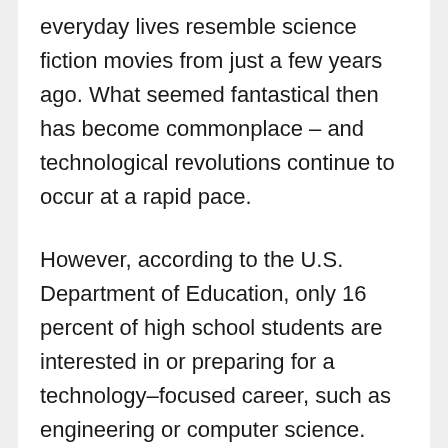everyday lives resemble science fiction movies from just a few years ago. What seemed fantastical then has become commonplace – and technological revolutions continue to occur at a rapid pace.
However, according to the U.S. Department of Education, only 16 percent of high school students are interested in or preparing for a technology–focused career, such as engineering or computer science.
Many schools are hoping to reverse this trend by instituting a STEM curriculum, which is a focus on the disciplines of